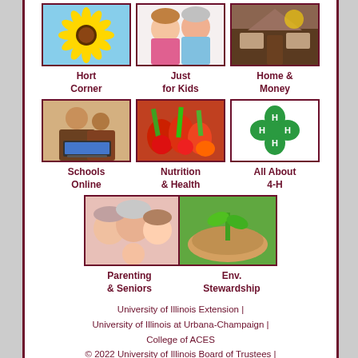[Figure (photo): Sunflower image for Hort Corner section]
[Figure (photo): Two smiling girls for Just for Kids section]
[Figure (photo): Soil/home image for Home & Money section]
Hort Corner
Just for Kids
Home & Money
[Figure (photo): Woman and child at computer for Schools Online section]
[Figure (photo): Fresh vegetables for Nutrition & Health section]
[Figure (logo): 4-H clover logo for All About 4-H section]
Schools Online
Nutrition & Health
All About 4-H
[Figure (photo): Multi-generational family photo for Parenting & Seniors section]
[Figure (photo): Hands holding seedling for Env. Stewardship section]
Parenting & Seniors
Env. Stewardship
University of Illinois Extension | University of Illinois at Urbana-Champaign | College of ACES © 2022 University of Illinois Board of Trustees | Privacy